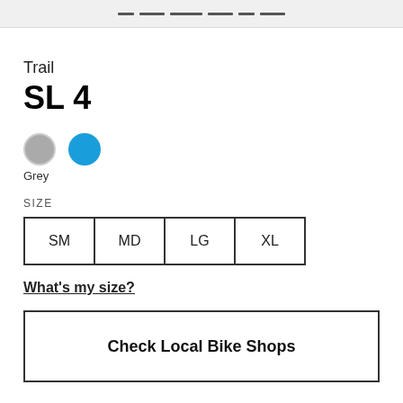Trail
SL 4
[Figure (other): Two color swatches: a grey circle and a blue circle, with 'Grey' label below the grey swatch]
SIZE
SM  MD  LG  XL
What's my size?
Check Local Bike Shops